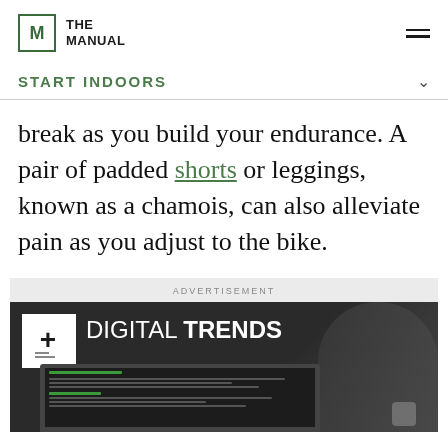THE MANUAL
START INDOORS
break as you build your endurance. A pair of padded shorts or leggings, known as a chamois, can also alleviate pain as you adjust to the bike.
[Figure (screenshot): Advertisement for Digital Trends showing a laptop with their logo and branding on a dark background]